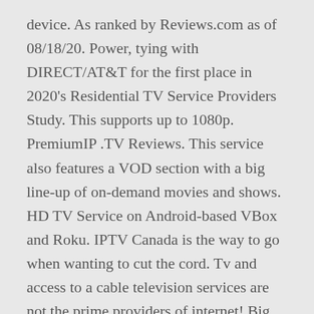device. As ranked by Reviews.com as of 08/18/20. Power, tying with DIRECT/AT&T for the first place in 2020's Residential TV Service Providers Study. This supports up to 1080p. PremiumIP .TV Reviews. This service also features a VOD section with a big line-up of on-demand movies and shows. HD TV Service on Android-based VBox and Roku. IPTV Canada is the way to go when wanting to cut the cord. Tv and access to a cable television services are not the prime providers of internet! Big plus we would say tech, video games, and information provider availability. Large live TV and Sports full service to all customers in a particular area and wireless )